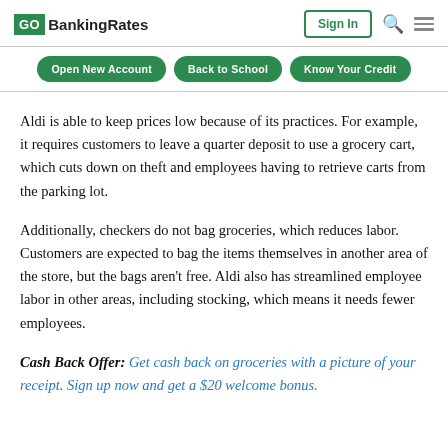GOBankingRates | Sign In
Open New Account | Back to School | Know Your Credit
Aldi is able to keep prices low because of its practices. For example, it requires customers to leave a quarter deposit to use a grocery cart, which cuts down on theft and employees having to retrieve carts from the parking lot.
Additionally, checkers do not bag groceries, which reduces labor. Customers are expected to bag the items themselves in another area of the store, but the bags aren't free. Aldi also has streamlined employee labor in other areas, including stocking, which means it needs fewer employees.
Cash Back Offer: Get cash back on groceries with a picture of your receipt. Sign up now and get a $20 welcome bonus.